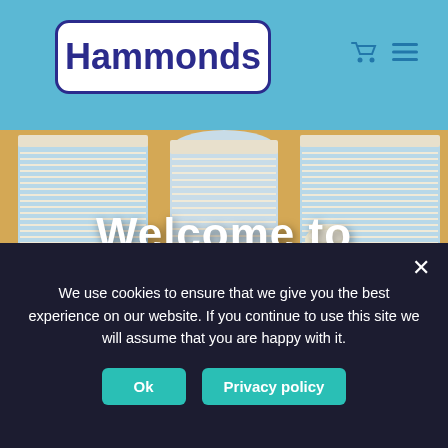Hammonds — website header with logo and navigation icons
[Figure (photo): Living room scene with white venetian blinds on three windows, yellow/golden walls, white sofas with colorful pillows, a wooden coffee table with decorative items, and a floor lamp. 'Welcome to Hammonds' text overlaid in large white bold font.]
We use cookies to ensure that we give you the best experience on our website. If you continue to use this site we will assume that you are happy with it.
Ok
Privacy policy